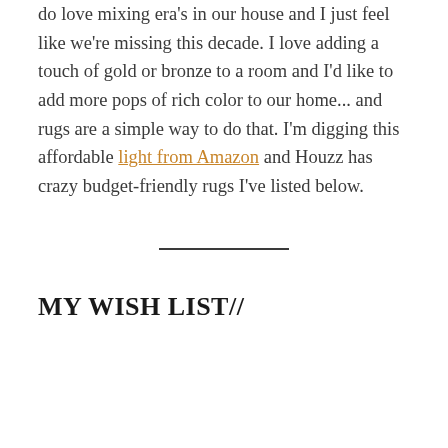do love mixing era's in our house and I just feel like we're missing this decade. I love adding a touch of gold or bronze to a room and I'd like to add more pops of rich color to our home... and rugs are a simple way to do that. I'm digging this affordable light from Amazon and Houzz has crazy budget-friendly rugs I've listed below.
MY WISH LIST//
[Figure (photo): A gold/brass pendant lamp with a circular canopy top and a thin rod, shown against a light gray background. A back-to-top arrow button is visible in the upper right corner, and an orange chat bubble icon overlaps the lower right.]